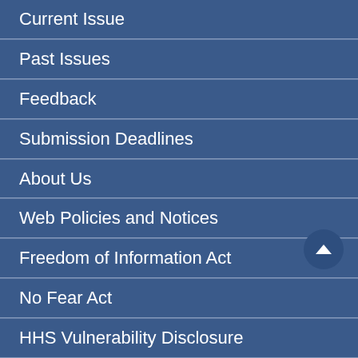Current Issue
Past Issues
Feedback
Submission Deadlines
About Us
Web Policies and Notices
Freedom of Information Act
No Fear Act
HHS Vulnerability Disclosure